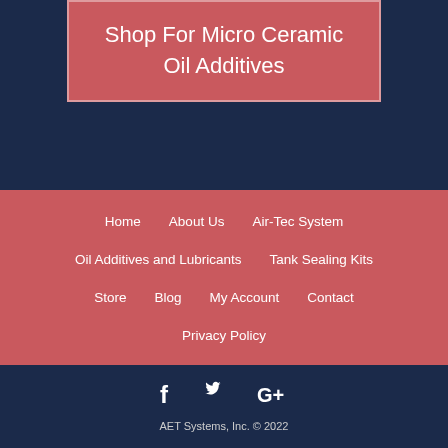Shop For Micro Ceramic Oil Additives
Home
About Us
Air-Tec System
Oil Additives and Lubricants
Tank Sealing Kits
Store
Blog
My Account
Contact
Privacy Policy
[Figure (illustration): Social media icons: Facebook, Twitter, Google+]
AET Systems, Inc. © 2022